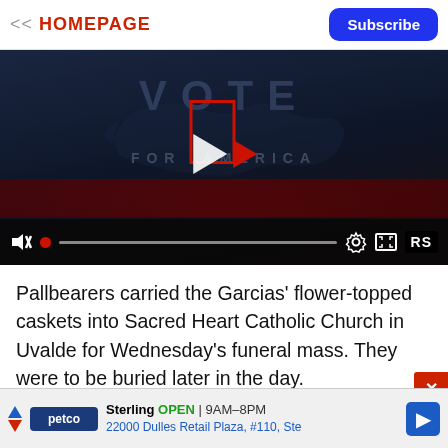<< HOMEPAGE | Subscribe
[Figure (screenshot): Video player showing a 'VOTE FOR AMERICA' graphic with a dark background featuring a US map silhouette. Controls bar at bottom with mute icon, red progress dot, progress bar, settings gear icon, fullscreen icon, and RS logo badge.]
Pallbearers carried the Garcias' flower-topped caskets into Sacred Heart Catholic Church in Uvalde for Wednesday's funeral mass. They were to be buried later in the day.
[Figure (other): Advertisement for Petco Sterling store: OPEN 9AM-8PM, 22000 Dulles Retail Plaza, #110, Ste]